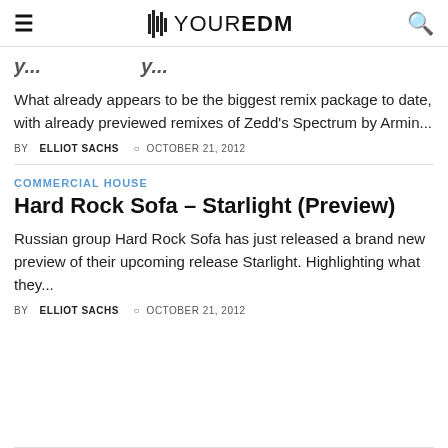YOUR EDM
y...y...y...
What already appears to be the biggest remix package to date, with already previewed remixes of Zedd's Spectrum by Armin...
BY ELLIOT SACHS  OCTOBER 21, 2012
COMMERCIAL HOUSE
Hard Rock Sofa – Starlight (Preview)
Russian group Hard Rock Sofa has just released a brand new preview of their upcoming release Starlight. Highlighting what they...
BY ELLIOT SACHS  OCTOBER 21, 2012